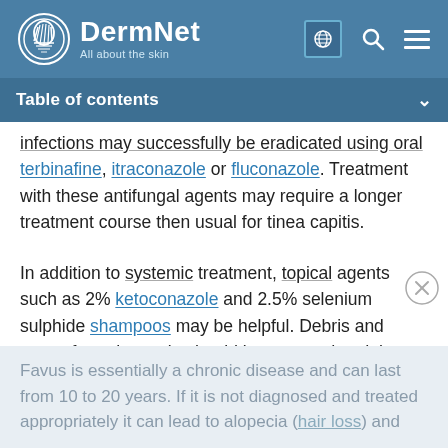DermNet — All about the skin
Table of contents
infections may successfully be eradicated using oral terbinafine, itraconazole or fluconazole. Treatment with these antifungal agents may require a longer treatment course then usual for tinea capitis.
In addition to systemic treatment, topical agents such as 2% ketoconazole and 2.5% selenium sulphide shampoos may be helpful. Debris and crusts from the scalp should be removed and the scalp cleaned regularly.
Favus is essentially a chronic disease and can last from 10 to 20 years. If it is not diagnosed and treated appropriately it can lead to alopecia (hair loss) and